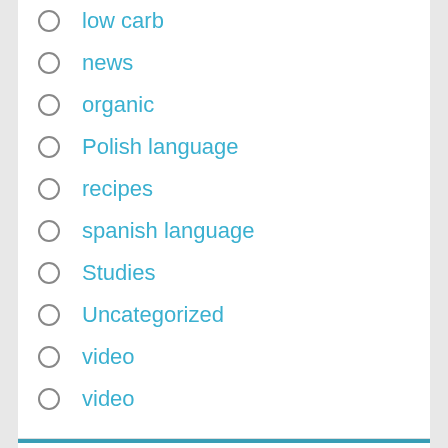low carb
news
organic
Polish language
recipes
spanish language
Studies
Uncategorized
video
video
META
Log in
Entries food